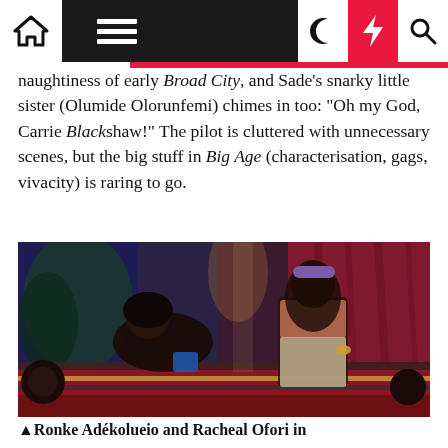Navigation bar with home, menu, moon, lightning, and search icons
naughtiness of early Broad City, and Sade's snarky little sister (Olumide Olorunfemi) chimes in too: "Oh my God, Carrie Blackshaw!" The pilot is cluttered with unnecessary scenes, but the big stuff in Big Age (characterisation, gags, vivacity) is raring to go.
[Figure (photo): Two young Black women posed on a colourful striped sofa/couch in a richly decorated room with red curtains and blue lighting. The woman on the left is lying back, the woman on the right is sitting upright wearing a floral crop top and light trousers with a purple headband.]
▲Ronke Adékolueio and Racheal Ofori in